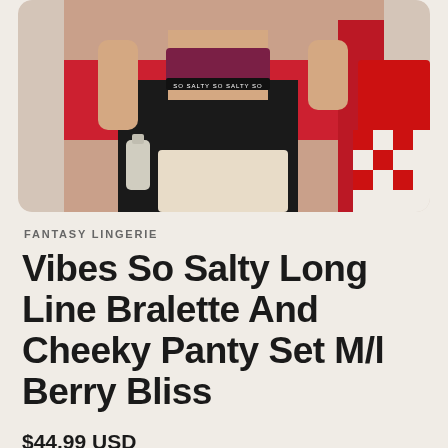[Figure (photo): Model wearing a berry-colored 'So Salty' long line bralette with black pants, seated at a diner booth with red and white accessories in the background]
FANTASY LINGERIE
Vibes So Salty Long Line Bralette And Cheeky Panty Set M/l Berry Bliss
$44.99 USD